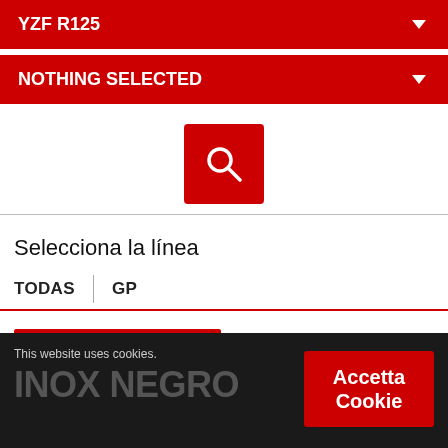YZF R125
NOTHING SELECTED
[Figure (screenshot): Red search button with magnifying glass icon]
Selecciona la línea
TODAS  |  GP
YAMAHA YZF R125 2019 > 2022
GP BLACK
INOX NEGRO
This website uses cookies.
Accetta Cookie